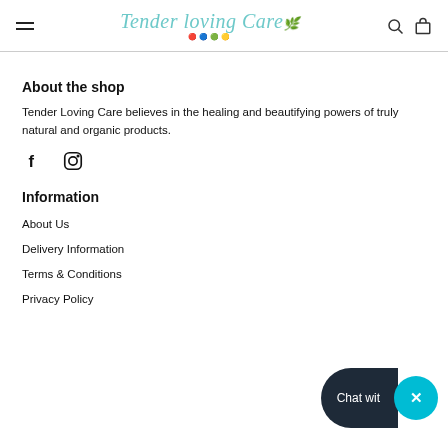Tender Loving Care
About the shop
Tender Loving Care believes in the healing and beautifying powers of truly natural and organic products.
[Figure (illustration): Social media icons: Facebook (f) and Instagram logo]
Information
About Us
Delivery Information
Terms & Conditions
Privacy Policy
[Figure (screenshot): Chat widget overlay with 'Chat wit' label and close X button in teal circle]